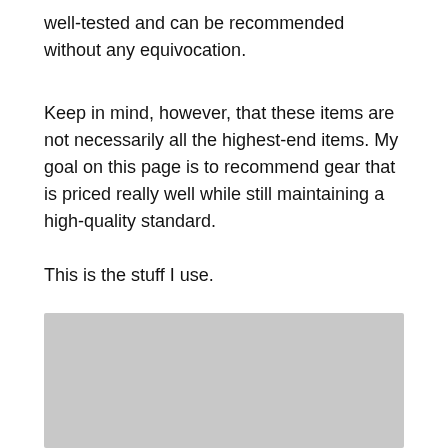well-tested and can be recommended without any equivocation.
Keep in mind, however, that these items are not necessarily all the highest-end items. My goal on this page is to recommend gear that is priced really well while still maintaining a high-quality standard.
This is the stuff I use.
[Figure (photo): A gray placeholder image block]